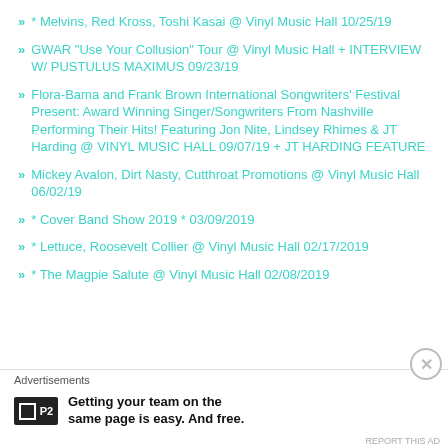* Melvins, Red Kross, Toshi Kasai @ Vinyl Music Hall 10/25/19
GWAR "Use Your Collusion" Tour @ Vinyl Music Hall + INTERVIEW W/ PUSTULUS MAXIMUS 09/23/19
Flora-Bama and Frank Brown International Songwriters' Festival Present: Award Winning Singer/Songwriters From Nashville Performing Their Hits! Featuring Jon Nite, Lindsey Rhimes & JT Harding @ VINYL MUSIC HALL 09/07/19 + JT HARDING FEATURE
Mickey Avalon, Dirt Nasty, Cutthroat Promotions @ Vinyl Music Hall 06/02/19
* Cover Band Show 2019 * 03/09/2019
* Lettuce, Roosevelt Collier @ Vinyl Music Hall 02/17/2019
* The Magpie Salute @ Vinyl Music Hall 02/08/2019
Advertisements
Getting your team on the same page is easy. And free.